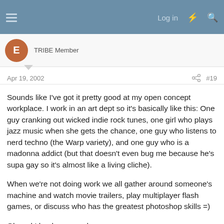Log in
TRIBE Member
Apr 19, 2002  #19
Sounds like I've got it pretty good at my open concept workplace. I work in an art dept so it's basically like this: One guy cranking out wicked indie rock tunes, one girl who plays jazz music when she gets the chance, one guy who listens to nerd techno (the Warp variety), and one guy who is a madonna addict (but that doesn't even bug me because he's supa gay so it's almost like a living cliche).
When we're not doing work we all gather around someone's machine and watch movie trailers, play multiplayer flash games, or discuss who has the greatest photoshop skills =)
Oh and I book my own hours.
Anyone jealous yet? 😀